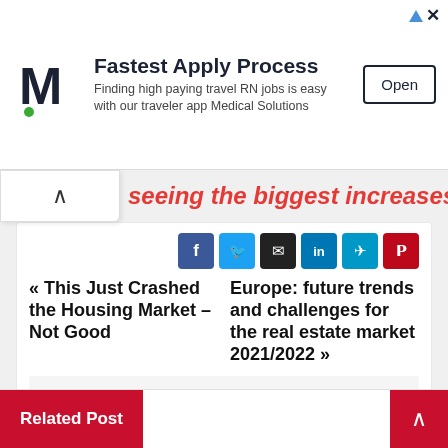[Figure (screenshot): Advertisement banner for Medical Solutions app showing logo, 'Fastest Apply Process' headline, tagline about travel RN jobs, and an Open button]
seeing the biggest increases
« This Just Crashed the Housing Market – Not Good
Europe: future trends and challenges for the real estate market 2021/2022 »
This news story originally appeared at Real Estate – Trend Magazine on 18 June 2022
Related Post